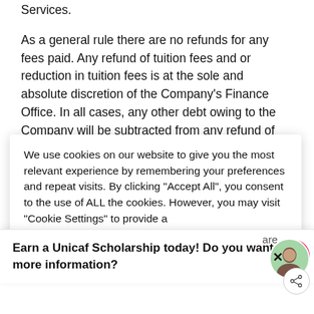Services.
As a general rule there are no refunds for any fees paid. Any refund of tuition fees and or reduction in tuition fees is at the sole and absolute discretion of the Company's Finance Office. In all cases, any other debt owing to the Company will be subtracted from any refund of
We use cookies on our website to give you the most relevant experience by remembering your preferences and repeat visits. By clicking "Accept All", you consent to the use of ALL the cookies. However, you may visit "Cookie Settings" to provide a
will terminate
s of in'
Earn a Unicaf Scholarship today! Do you want more information?